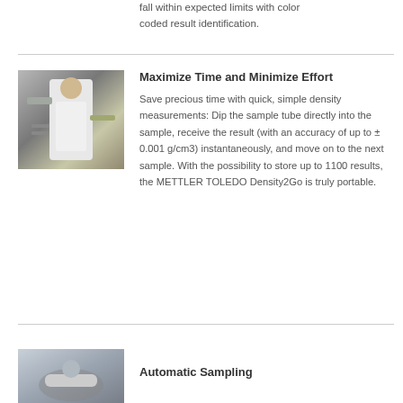fall within expected limits with color coded result identification.
[Figure (photo): Person in white lab coat working with industrial equipment, holding a device]
Maximize Time and Minimize Effort
Save precious time with quick, simple density measurements: Dip the sample tube directly into the sample, receive the result (with an accuracy of up to ± 0.001 g/cm3) instantaneously, and move on to the next sample. With the possibility to store up to 1100 results, the METTLER TOLEDO Density2Go is truly portable.
[Figure (photo): Close-up of device or equipment for automatic sampling]
Automatic Sampling